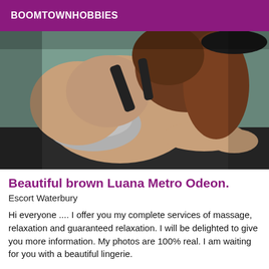BOOMTOWNHOBBIES
[Figure (photo): A woman in a gray bikini bottom and black top posing on a dark surface, viewed from behind/side angle, with brown hair.]
Beautiful brown Luana Metro Odeon.
Escort Waterbury
Hi everyone .... I offer you my complete services of massage, relaxation and guaranteed relaxation. I will be delighted to give you more information. My photos are 100% real. I am waiting for you with a beautiful lingerie.